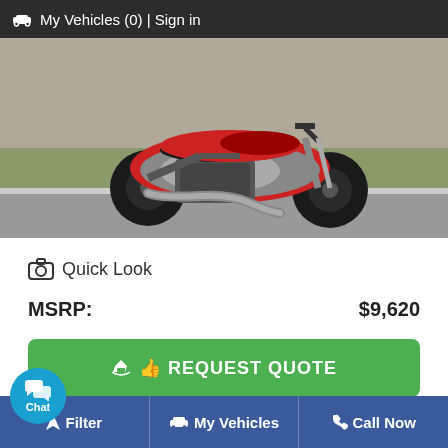🚗 My Vehicles (0) | Sign in
[Figure (photo): A red and black sport motorcycle (naked bike) parked on a road with grass and a building in the background. Side profile view.]
📷 Quick Look
MSRP: $9,620
👍 REQUEST QUOTE
Filter | My Vehicles | Call Now